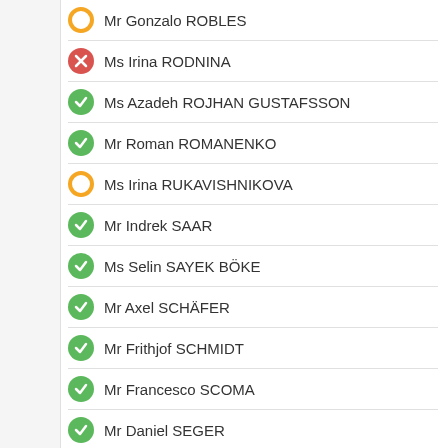Mr Gonzalo ROBLES
Ms Irina RODNINA
Ms Azadeh ROJHAN GUSTAFSSON
Mr Roman ROMANENKO
Ms Irina RUKAVISHNIKOVA
Mr Indrek SAAR
Ms Selin SAYEK BÖKE
Mr Axel SCHÄFER
Mr Frithjof SCHMIDT
Mr Francesco SCOMA
Mr Daniel SEGER
Ms Elena SEROVA
Mr Aleksandar ŠEŠELJ
Mr Zeki Hakan SIDALI
Mr Zafer SIRAKAYA
M. Gheorghe-Dinu SOCOTAR
M. Marc SPAUTZ